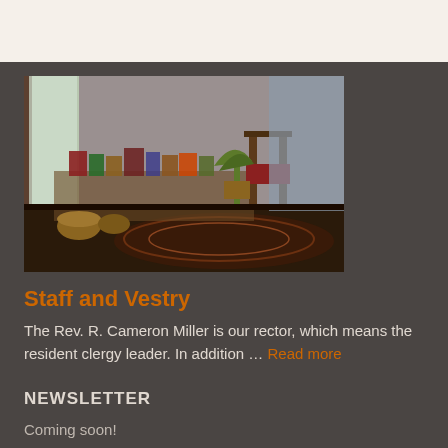[Figure (photo): Interior room photo showing a table covered with gift bags and baskets, a chair with a red seat cushion, a potted plant near a window, and a patterned area rug on the floor.]
Staff and Vestry
The Rev. R. Cameron Miller is our rector, which means the resident clergy leader. In addition … Read more
NEWSLETTER
Coming soon!